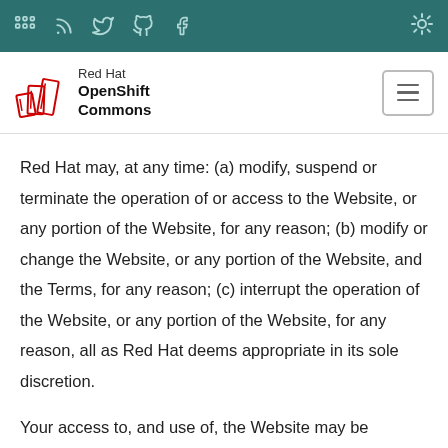[Navigation bar with social/site icons and theme toggle]
[Figure (logo): Red Hat OpenShift Commons logo with book stack icon and hamburger menu button]
Red Hat may, at any time: (a) modify, suspend or terminate the operation of or access to the Website, or any portion of the Website, for any reason; (b) modify or change the Website, or any portion of the Website, and the Terms, for any reason; (c) interrupt the operation of the Website, or any portion of the Website, for any reason, all as Red Hat deems appropriate in its sole discretion.
Your access to, and use of, the Website may be terminated by you or by Red Hat at any time and for